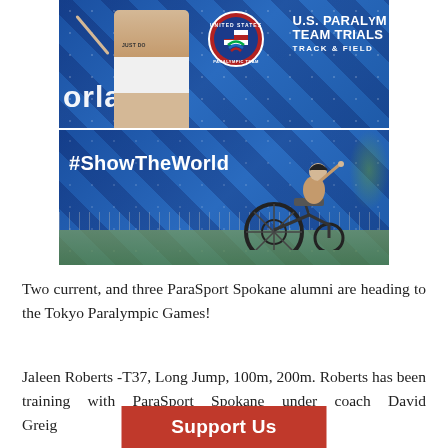[Figure (photo): Two-photo collage: top photo shows a young woman in a white athletic top with arm raised in celebration in front of a U.S. Paralympic Team Trials Track & Field banner; bottom photo shows a young woman in a racing wheelchair with arm raised, in front of a blue banner reading #ShowTheWorld.]
Two current, and three ParaSport Spokane alumni are heading to the Tokyo Paralympic Games!
Jaleen Roberts -T37, Long Jump, 100m, 200m. Roberts has been training with ParaSport Spokane under coach David Greig... EWU Education